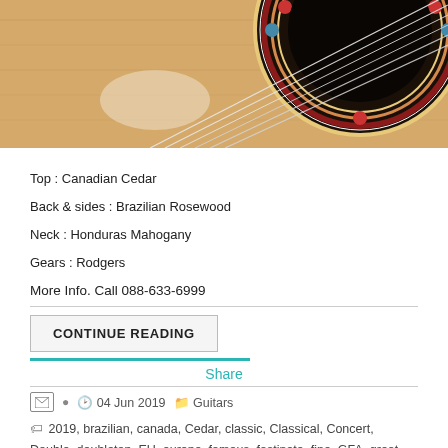[Figure (photo): Close-up photo of a classical guitar soundhole with decorative rosette inlay and strings visible on a cedar top]
Top : Canadian Cedar
Back & sides : Brazilian Rosewood
Neck : Honduras Mahogany
Gears : Rodgers
More Info. Call 088-633-6999
CONTINUE READING
Share
04 Jun 2019
Guitars
2019, brazilian, canada, Cedar, classic, Classical, Concert, Double, doubletop, EU, europe, famous, fastinate, fine, GFA, great, Guitar, guitarist, guitarparadiso, hi-end, loud, machine, rich, rosewood, Schaller, tone, treble, wonderful, wood, world